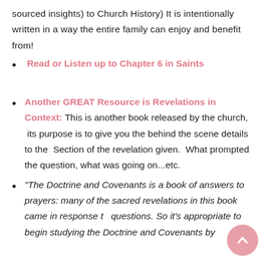sourced insights) to Church History) It is intentionally written in a way the entire family can enjoy and benefit from!
Read or Listen up to Chapter 6 in Saints
Another GREAT Resource is Revelations in Context: This is another book released by the church, its purpose is to give you the behind the scene details to the Section of the revelation given. What prompted the question, what was going on...etc.
“The Doctrine and Covenants is a book of answers to prayers: many of the sacred revelations in this book came in response to questions. So it’s appropriate to begin studying the Doctrine and Covenants by